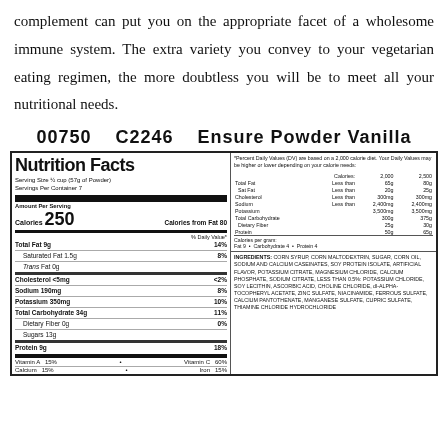complement can put you on the appropriate facet of a wholesome immune system. The extra variety you convey to your vegetarian eating regimen, the more doubtless you will be to meet all your nutritional needs.
00750   C2246   Ensure Powder Vanilla
| Nutrition Facts |  |
| --- | --- |
| Serving Size ½ cup (57g of Powder) |  |
| Servings Per Container 7 |  |
| Amount Per Serving |  |
| Calories 250 | Calories from Fat 80 |
| Total Fat 9g | 14% |
| Saturated Fat 1.5g | 8% |
| Trans Fat 0g |  |
| Cholesterol <5mg | <2% |
| Sodium 190mg | 8% |
| Potassium 350mg | 10% |
| Total Carbohydrate 34g | 11% |
| Dietary Fiber 0g | 0% |
| Sugars 13g |  |
| Protein 9g | 18% |
| Vitamin A 15%  •  Vitamin C 60% |  |
| Calcium  15%  •  Iron  15% |  |
*Percent Daily Values (DV) are based on a 2,000 calorie diet. Your Daily Values may be higher or lower depending on your calorie needs: Calories: 2,000 / 2,500. Total Fat Less than 65g / 80g. Sat Fat Less than 20g / 25g. Cholesterol Less than 300mg / 300mg. Sodium Less than 2,400mg / 2,400mg. Potassium 3,500mg / 3,500mg. Total Carbohydrate 300g / 375g. Dietary Fiber 25g / 30g. Protein 50g / 65g. Calories per gram: Fat 9 • Carbohydrate 4 • Protein 4
INGREDIENTS: CORN SYRUP, CORN MALTODEXTRIN, SUGAR, CORN OIL, SODIUM AND CALCIUM CASEINATES, SOY PROTEIN ISOLATE, ARTIFICIAL FLAVOR, POTASSIUM CITRATE, MAGNESIUM CHLORIDE, CALCIUM PHOSPHATE, SODIUM CITRATE, LESS THAN 0.5%: POTASSIUM CHLORIDE, SOY LECITHIN, ASCORBIC ACID, CHOLINE CHLORIDE, dl-ALPHA-TOCOPHERYL ACETATE, ZINC SULFATE, NIACINAMIDE, FERROUS SULFATE, CALCIUM PANTOTHENATE, MANGANESE SULFATE, CUPRIC SULFATE, THIAMINE CHLORIDE HYDROCHLORIDE